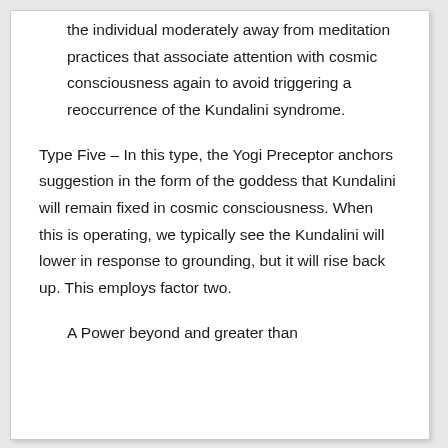the individual moderately away from meditation practices that associate attention with cosmic consciousness again to avoid triggering a reoccurrence of the Kundalini syndrome.
Type Five – In this type, the Yogi Preceptor anchors suggestion in the form of the goddess that Kundalini will remain fixed in cosmic consciousness. When this is operating, we typically see the Kundalini will lower in response to grounding, but it will rise back up. This employs factor two.
A Power beyond and greater than